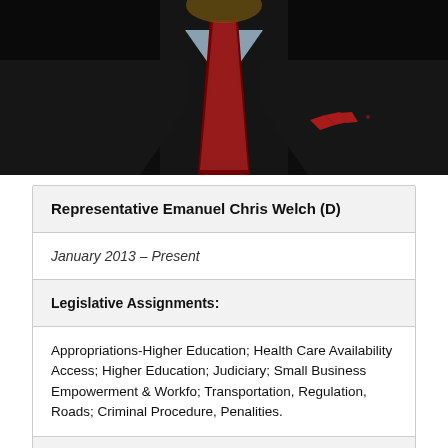[Figure (photo): Portrait photo of Representative Emanuel Chris Welch wearing a dark suit with red tie and light blue shirt against a dark background]
| Representative Emanuel Chris Welch (D) |
| January 2013 – Present |
| Legislative Assignments: |
| Appropriations-Higher Education; Health Care Availability Access; Higher Education; Judiciary; Small Business Empowerment & Workfo; Transportation, Regulation, Roads; Criminal Procedure, Penalities. |
|  |